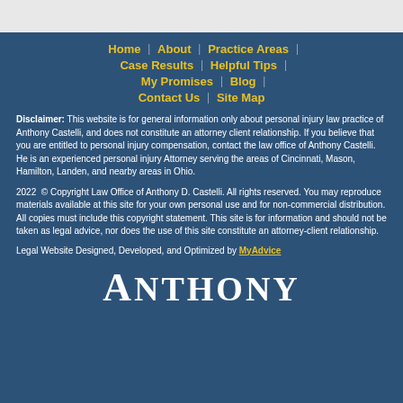Home | About | Practice Areas | Case Results | Helpful Tips | My Promises | Blog | Contact Us | Site Map
Disclaimer: This website is for general information only about personal injury law practice of Anthony Castelli, and does not constitute an attorney client relationship. If you believe that you are entitled to personal injury compensation, contact the law office of Anthony Castelli. He is an experienced personal injury Attorney serving the areas of Cincinnati, Mason, Hamilton, Landen, and nearby areas in Ohio.
2022 © Copyright Law Office of Anthony D. Castelli. All rights reserved. You may reproduce materials available at this site for your own personal use and for non-commercial distribution. All copies must include this copyright statement. This site is for information and should not be taken as legal advice, nor does the use of this site constitute an attorney-client relationship.
Legal Website Designed, Developed, and Optimized by MyAdvice
ANTHONY